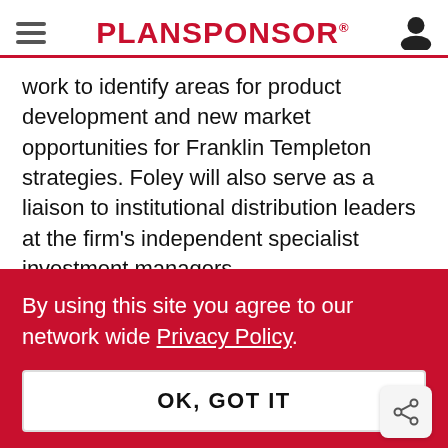PLANSPONSOR
work to identify areas for product development and new market opportunities for Franklin Templeton strategies. Foley will also serve as a liaison to institutional distribution leaders at the firm’s independent specialist investment managers.
By using this site you agree to our network wide Privacy Policy.
OK, GOT IT